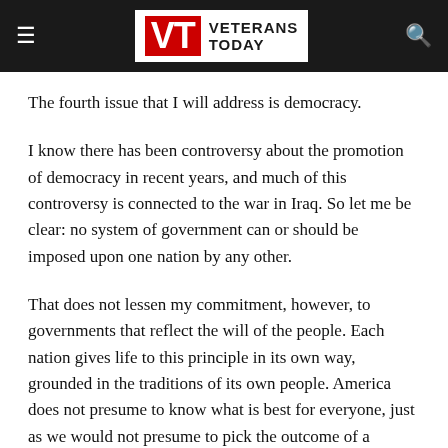Veterans Today
The fourth issue that I will address is democracy.
I know there has been controversy about the promotion of democracy in recent years, and much of this controversy is connected to the war in Iraq. So let me be clear: no system of government can or should be imposed upon one nation by any other.
That does not lessen my commitment, however, to governments that reflect the will of the people. Each nation gives life to this principle in its own way, grounded in the traditions of its own people. America does not presume to know what is best for everyone, just as we would not presume to pick the outcome of a peaceful election. But I do